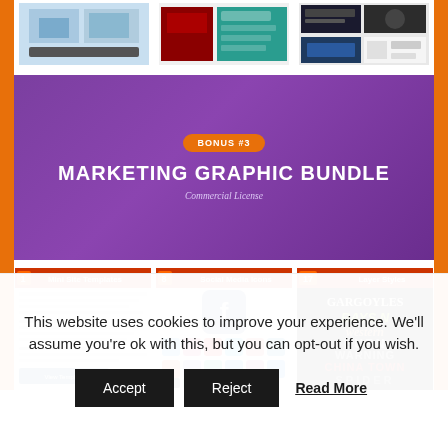[Figure (screenshot): Three product/template preview images at the top of the page, shown inside orange border]
[Figure (screenshot): Purple banner with orange 'BONUS #3' badge, 'MARKETING GRAPHIC BUNDLE' title in white bold text, and 'Commercial License' subtitle in light italic text]
[Figure (screenshot): Three product preview panels: '1 Mini Site Templates', '8 Social Media Icons', '17 Layer Styles' showing sample content]
This website uses cookies to improve your experience. We'll assume you're ok with this, but you can opt-out if you wish.
Accept | Reject | Read More